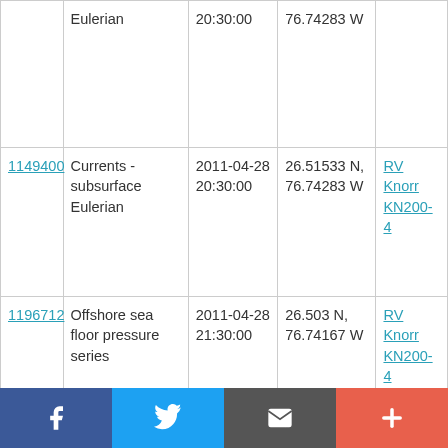| ID | Type | Date/Time | Location | Source |
| --- | --- | --- | --- | --- |
|  | Currents - subsurface Eulerian | 20:30:00 | 76.74283 W |  |
| 1149400 | Currents - subsurface Eulerian | 2011-04-28 20:30:00 | 26.51533 N, 76.74283 W | RV Knorr KN200-4 |
| 1196712 | Offshore sea floor pressure series | 2011-04-28 21:30:00 | 26.503 N, 76.74167 W | RV Knorr KN200-4 |
| 1196724 | Offshore sea floor pressure series | 2011-04-28 21:30:00 | 26.503 N, 76.74167 W | RV Knorr KN200-4 |